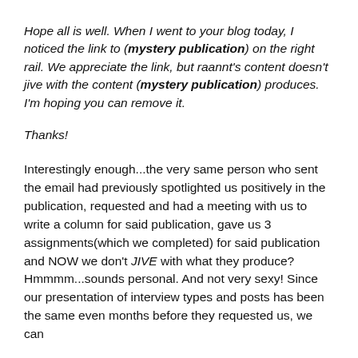Hope all is well. When I went to your blog today, I noticed the link to (mystery publication) on the right rail. We appreciate the link, but raannt's content doesn't jive with the content (mystery publication) produces. I'm hoping you can remove it.
Thanks!
Interestingly enough...the very same person who sent the email had previously spotlighted us positively in the publication, requested and had a meeting with us to write a column for said publication, gave us 3 assignments(which we completed) for said publication and NOW we don't JIVE with what they produce? Hmmmm...sounds personal. And not very sexy! Since our presentation of interview types and posts has been the same even months before they requested us, we can